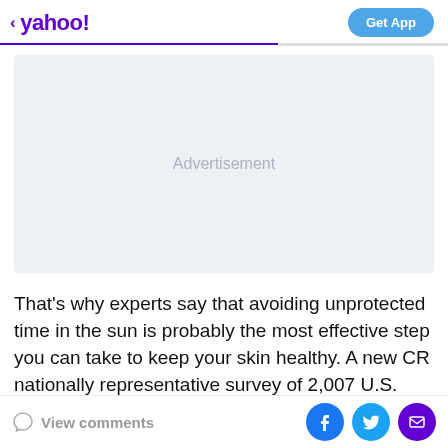< yahoo!  Get App
[Figure (other): Advertisement placeholder box with light gray background and text 'Advertisement' centered]
That's why experts say that avoiding unprotected time in the sun is probably the most effective step you can take to keep your skin healthy. A new CR nationally representative survey of 2,007 U.S. adults revealed that
View comments  [Facebook] [Twitter] [Email]